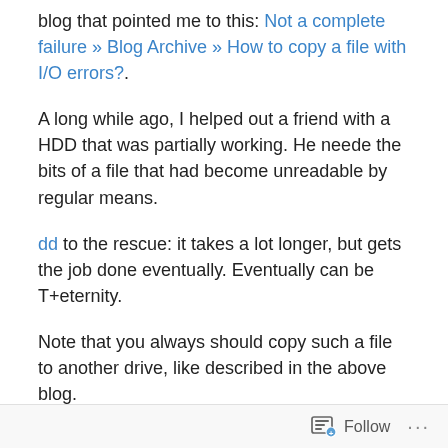blog that pointed me to this: Not a complete failure » Blog Archive » How to copy a file with I/O errors?.
A long while ago, I helped out a friend with a HDD that was partially working. He neede the bits of a file that had become unreadable by regular means.
dd to the rescue: it takes a lot longer, but gets the job done eventually. Eventually can be T+eternity.
Note that you always should copy such a file to another drive, like described in the above blog.
Something like this (the parameters are explained at the dd man page):
dd if=/dev/stime=nth/this=nt=onnnth/d...
Follow